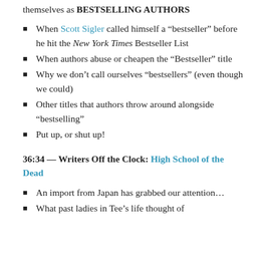themselves as BESTSELLING AUTHORS
When Scott Sigler called himself a “bestseller” before he hit the New York Times Bestseller List
When authors abuse or cheapen the “Bestseller” title
Why we don’t call ourselves “bestsellers” (even though we could)
Other titles that authors throw around alongside “bestselling”
Put up, or shut up!
36:34 — Writers Off the Clock: High School of the Dead
An import from Japan has grabbed our attention…
What past ladies in Tee’s life thought of